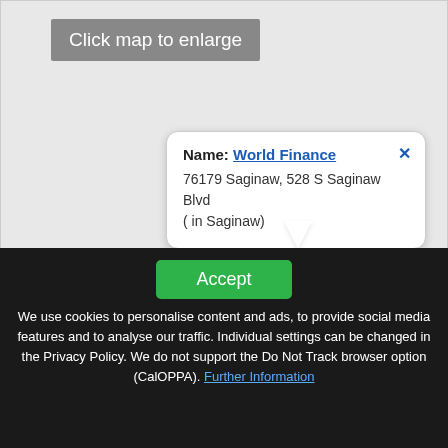[Figure (map): Interactive map showing location of World Finance at 76179 Saginaw, 528 S Saginaw Blvd (in Saginaw) with a popup tooltip and phone icon marker. Includes 'Click map to enlarge' banner and OpenStreetMap attribution.]
Name: World Finance
76179 Saginaw, 528 S Saginaw Blvd
( in Saginaw)
© OpenStreetMap
Accept
We use cookies to personalise content and ads, to provide social media features and to analyse our traffic. Individual settings can be changed in the Privacy Policy. We do not support the Do Not Track browser option (CalOPPA). Further Information